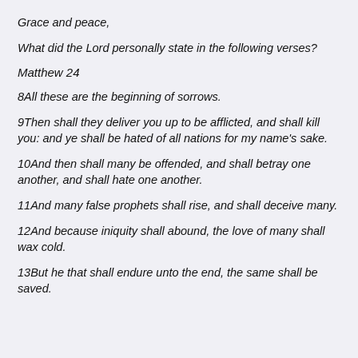Grace and peace,
What did the Lord personally state in the following verses?
Matthew 24
8All these are the beginning of sorrows.
9Then shall they deliver you up to be afflicted, and shall kill you: and ye shall be hated of all nations for my name's sake.
10And then shall many be offended, and shall betray one another, and shall hate one another.
11And many false prophets shall rise, and shall deceive many.
12And because iniquity shall abound, the love of many shall wax cold.
13But he that shall endure unto the end, the same shall be saved.